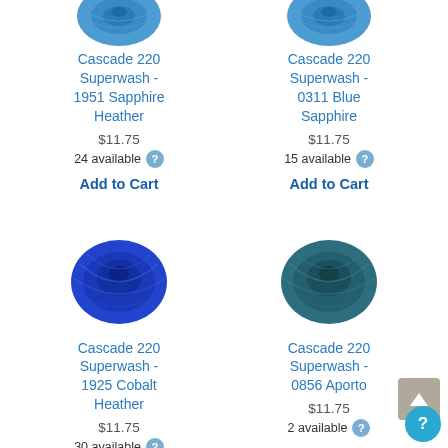[Figure (photo): Blue yarn ball for Cascade 220 Superwash 1951 Sapphire Heather (partially visible at top)]
[Figure (photo): Blue yarn ball for Cascade 220 Superwash 0311 Blue Sapphire (partially visible at top)]
Cascade 220 Superwash - 1951 Sapphire Heather
Cascade 220 Superwash - 0311 Blue Sapphire
$11.75
$11.75
24 available
15 available
Add to Cart
Add to Cart
[Figure (photo): Bright blue/cobalt yarn ball for Cascade 220 Superwash 1925 Cobalt Heather]
[Figure (photo): Teal/dark teal yarn ball for Cascade 220 Superwash 0856 Aporto]
Cascade 220 Superwash - 1925 Cobalt Heather
Cascade 220 Superwash - 0856 Aporto
$11.75
$11.75
30 available
2 available